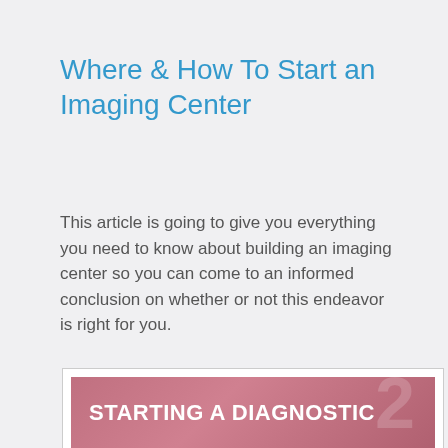Where & How To Start an Imaging Center
This article is going to give you everything you need to know about building an imaging center so you can come to an informed conclusion on whether or not this endeavor is right for you.
[Figure (illustration): Pink/mauve banner image with bold white uppercase text reading 'STARTING A DIAGNOSTIC' with a large semi-transparent number watermark in the background.]